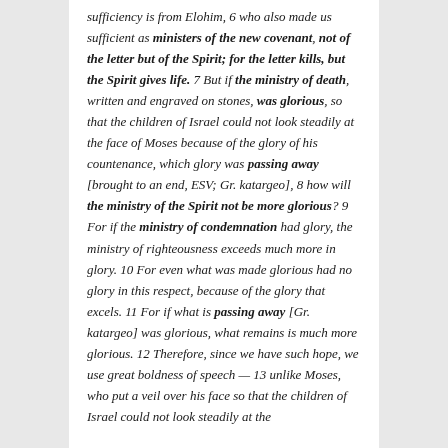sufficiency is from Elohim, 6 who also made us sufficient as ministers of the new covenant, not of the letter but of the Spirit; for the letter kills, but the Spirit gives life. 7 But if the ministry of death, written and engraved on stones, was glorious, so that the children of Israel could not look steadily at the face of Moses because of the glory of his countenance, which glory was passing away [brought to an end, ESV; Gr. katargeo], 8 how will the ministry of the Spirit not be more glorious? 9 For if the ministry of condemnation had glory, the ministry of righteousness exceeds much more in glory. 10 For even what was made glorious had no glory in this respect, because of the glory that excels. 11 For if what is passing away [Gr. katargeo] was glorious, what remains is much more glorious. 12 Therefore, since we have such hope, we use great boldness of speech — 13 unlike Moses, who put a veil over his face so that the children of Israel could not look steadily at the